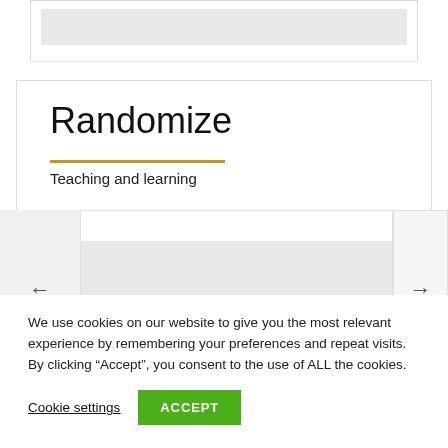[Figure (screenshot): Top card with gray input bar, partially visible]
Randomize
Teaching and learning
[Figure (screenshot): Carousel with left arrow, white center panel, right arrow panel, and gray content area]
We use cookies on our website to give you the most relevant experience by remembering your preferences and repeat visits. By clicking “Accept”, you consent to the use of ALL the cookies.
Cookie settings
ACCEPT